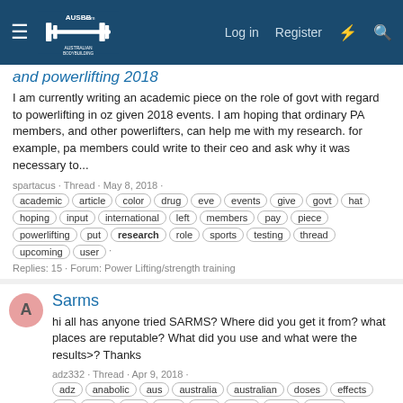AUSBB.com Australian Bodybuilding — Log in | Register
and powerlifting 2018
I am currently writing an academic piece on the role of govt with regard to powerlifting in oz given 2018 events. I am hoping that ordinary PA members, and other powerlifters, can help me with my research. for example, pa members could write to their ceo and ask why it was necessary to...
spartacus · Thread · May 8, 2018 · academic · article · color · drug · eve · events · give · govt · hat · hoping · input · international · left · members · pay · piece · powerlifting · put · research · role · sports · testing · thread · upcoming · user ·
Replies: 15 · Forum: Power Lifting/strength training
Sarms
hi all has anyone tried SARMS? Where did you get it from? what places are reputable? What did you use and what were the results>? Thanks
adz332 · Thread · Apr 9, 2018 · adz · anabolic · aus · australia · australian · doses · effects · fat · hank · hey · high · kunt · mate · place · places · reputable · research · results · sarms · side · sides · spar · steroid · steroids · yeah · Replies: 12 ·